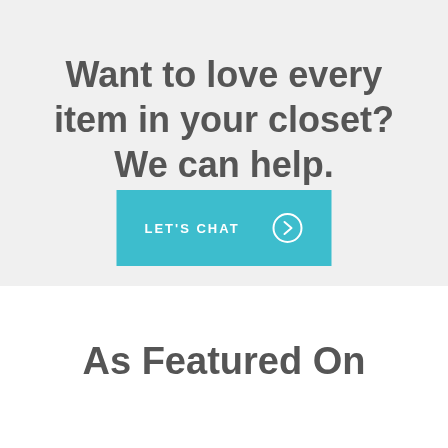[Figure (photo): Partial photo strip at top showing blurred interior/closet scene with 'Virtual' text overlay]
Want to love every item in your closet? We can help.
LET'S CHAT →
As Featured On